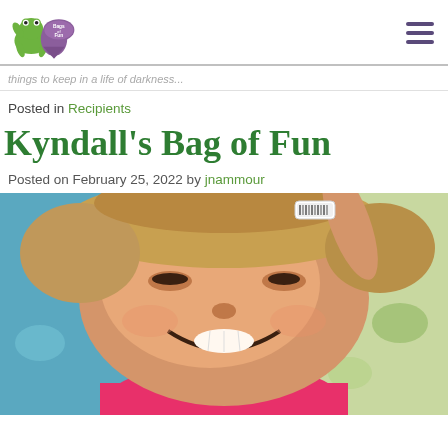Bags of Fun logo and navigation
Posted in Recipients
Kyndall’s Bag of Fun
Posted on February 25, 2022 by jnammour
[Figure (photo): A smiling young girl lying down, wearing a hospital wristband, with a pink shirt, looking up at the camera. Background shows colorful bedding.]